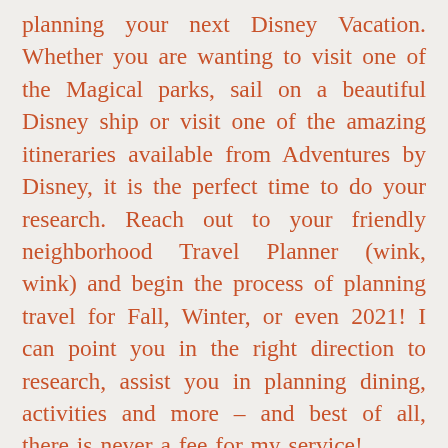planning your next Disney Vacation. Whether you are wanting to visit one of the Magical parks, sail on a beautiful Disney ship or visit one of the amazing itineraries available from Adventures by Disney, it is the perfect time to do your research. Reach out to your friendly neighborhood Travel Planner (wink, wink) and begin the process of planning travel for Fall, Winter, or even 2021! I can point you in the right direction to research, assist you in planning dining, activities and more – and best of all, there is never a fee for my service!